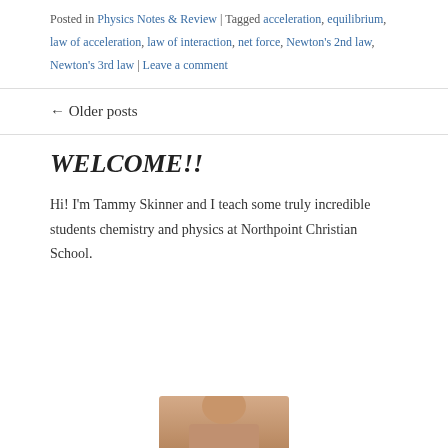Posted in Physics Notes & Review | Tagged acceleration, equilibrium, law of acceleration, law of interaction, net force, Newton's 2nd law, Newton's 3rd law | Leave a comment
← Older posts
WELCOME!!
Hi! I'm Tammy Skinner and I teach some truly incredible students chemistry and physics at Northpoint Christian School.
[Figure (photo): Partial photo visible at bottom of page, appears to be a person]